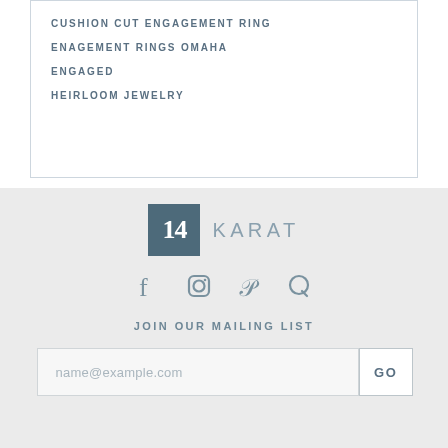CUSHION CUT ENGAGEMENT RING
ENAGEMENT RINGS OMAHA
ENGAGED
HEIRLOOM JEWELRY
[Figure (logo): 14 KARAT logo — a dark teal square with '14' in white and 'KARAT' in grey beside it]
[Figure (infographic): Social media icons: Facebook, Instagram, Pinterest, Quora in grey]
JOIN OUR MAILING LIST
name@example.com
GO